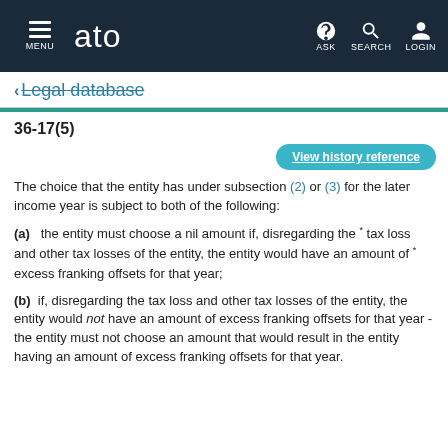MENU  ato  ASK  SEARCH  LOGIN
< Legal database
36-17(5)
View history reference
The choice that the entity has under subsection (2) or (3) for the later income year is subject to both of the following:
(a)  the entity must choose a nil amount if, disregarding the * tax loss and other tax losses of the entity, the entity would have an amount of * excess franking offsets for that year;
(b)  if, disregarding the tax loss and other tax losses of the entity, the entity would not have an amount of excess franking offsets for that year - the entity must not choose an amount that would result in the entity having an amount of excess franking offsets for that year.